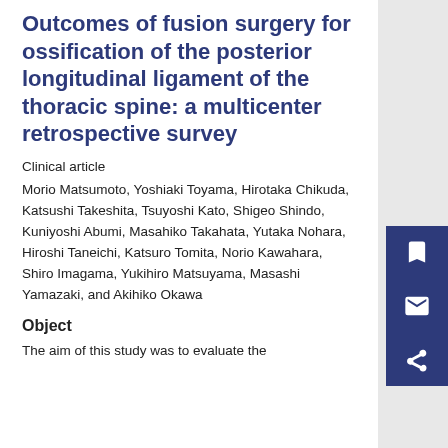Outcomes of fusion surgery for ossification of the posterior longitudinal ligament of the thoracic spine: a multicenter retrospective survey
Clinical article
Morio Matsumoto, Yoshiaki Toyama, Hirotaka Chikuda, Katsushi Takeshita, Tsuyoshi Kato, Shigeo Shindo, Kuniyoshi Abumi, Masahiko Takahata, Yutaka Nohara, Hiroshi Taneichi, Katsuro Tomita, Norio Kawahara, Shiro Imagama, Yukihiro Matsuyama, Masashi Yamazaki, and Akihiko Okawa
Object
The aim of this study was to evaluate the...